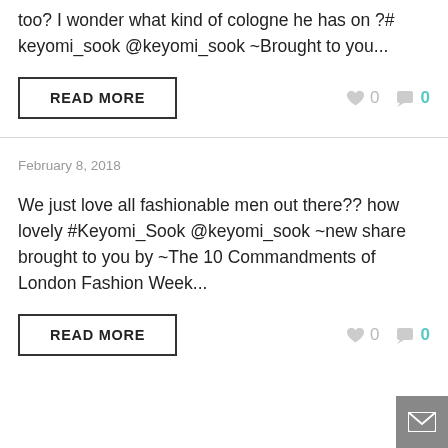too? I wonder what kind of cologne he has on ?# keyomi_sook @keyomi_sook ~Brought to you...
READ MORE   ♥ 0   💬 0
February 8, 2018
We just love all fashionable men out there?? how lovely #Keyomi_Sook @keyomi_sook ~new share brought to you by ~The 10 Commandments of London Fashion Week...
READ MORE   ♥ 0   💬 0